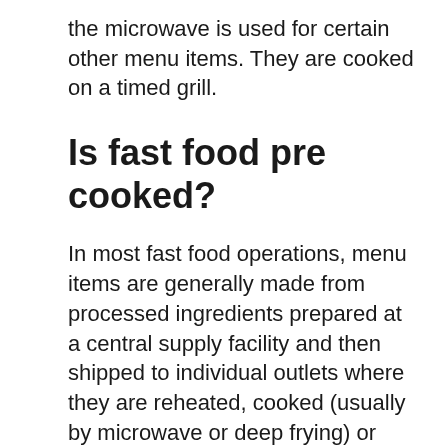the microwave is used for certain other menu items. They are cooked on a timed grill.
Is fast food pre cooked?
In most fast food operations, menu items are generally made from processed ingredients prepared at a central supply facility and then shipped to individual outlets where they are reheated, cooked (usually by microwave or deep frying) or assembled in a short amount of time.
Is it safe to eat mcdonalds during Covid?